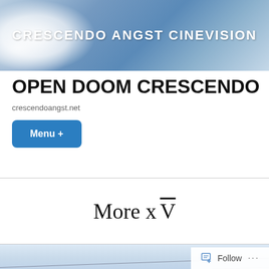[Figure (photo): Website banner showing cloudy blue sky on left, with bold white text 'CRESCENDO ANGST CINEVISION' on the right against a blue-grey sky background.]
OPEN DOOM CRESCENDO
crescendoangst.net
Menu +
More x V̄
[Figure (photo): Partial photo of light blue sky with faint diagonal wire lines across the image.]
Follow ...